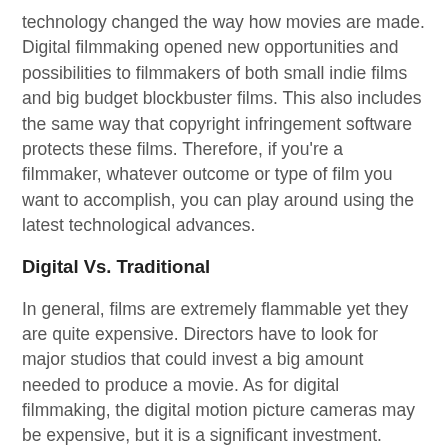technology changed the way how movies are made. Digital filmmaking opened new opportunities and possibilities to filmmakers of both small indie films and big budget blockbuster films. This also includes the same way that copyright infringement software protects these films. Therefore, if you're a filmmaker, whatever outcome or type of film you want to accomplish, you can play around using the latest technological advances.
Digital Vs. Traditional
In general, films are extremely flammable yet they are quite expensive. Directors have to look for major studios that could invest a big amount needed to produce a movie. As for digital filmmaking, the digital motion picture cameras may be expensive, but it is a significant investment.
Digital filmmaking is a type of filmmaking where you use digital cameras or a computer to create characters, environments and other extensive features. Digital